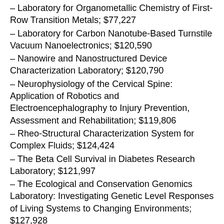– Laboratory for Organometallic Chemistry of First-Row Transition Metals; $77,227
– Laboratory for Carbon Nanotube-Based Turnstile Vacuum Nanoelectronics; $120,590
– Nanowire and Nanostructured Device Characterization Laboratory; $120,790
– Neurophysiology of the Cervical Spine: Application of Robotics and Electroencephalography to Injury Prevention, Assessment and Rehabilitation; $119,806
– Rheo-Structural Characterization System for Complex Fluids; $124,424
– The Beta Cell Survival in Diabetes Research Laboratory; $121,997
– The Ecological and Conservation Genomics Laboratory: Investigating Genetic Level Responses of Living Systems to Changing Environments; $127,928
– VIVArc: Vancouver Immunity & Vaccine Analysis Research Center; $100,000